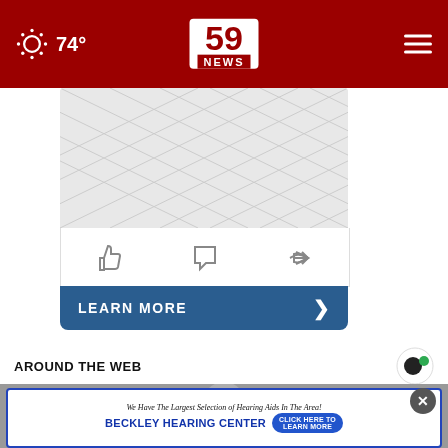74° | 59 NEWS
[Figure (screenshot): Gray diamond-pattern placeholder image area with social icons (thumbs up, comment, share) below and a blue LEARN MORE button at the bottom]
AROUND THE WEB
[Figure (photo): Partial photo of a person, partially visible at bottom of page]
[Figure (other): Advertisement banner for Beckley Hearing Center: 'We Have The Largest Selection of Hearing Aids In The Area!' with a CLICK HERE TO LEARN MORE button]